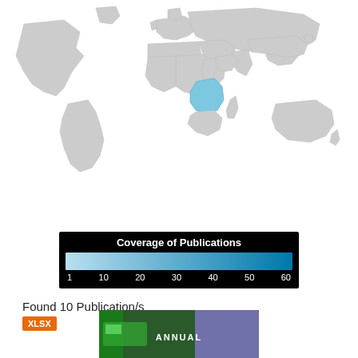[Figure (map): World map with southern/eastern Africa (Zimbabwe and surrounding countries) highlighted in light blue, rest of world in gray]
[Figure (infographic): Legend: Coverage of Publications color scale from 1 to 60, light blue to dark blue, on black background]
Found 10 Publication/s
XLSX
[Figure (photo): Thumbnail image of what appears to be an annual report cover, with green and purple/blue sections and partial text 'ANNUAL']